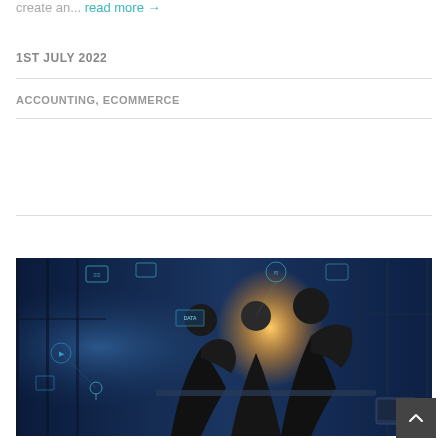create an... read more →
1ST JULY 2022
ACCOUNTING, ECOMMERCE
[Figure (photo): People standing around a table in a modern office with digital holographic icons overlaid on the scene, showing a technology/IoT business environment with blue-tinted lighting and a warm spotlight effect.]